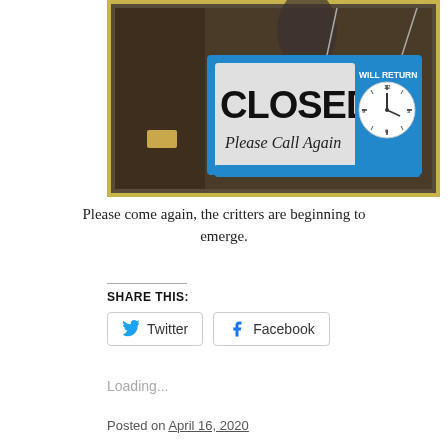[Figure (photo): A closed store sign hanging in a window. The sign reads 'CLOSED / Please Call Again' in bold black text with a blue border, and also shows 'WILL RETURN' with a clock face on the right side. Behind the sign is a framed artwork.]
Please come again, the critters are beginning to emerge.
SHARE THIS:
Twitter  Facebook
Loading...
Posted on April 16, 2020